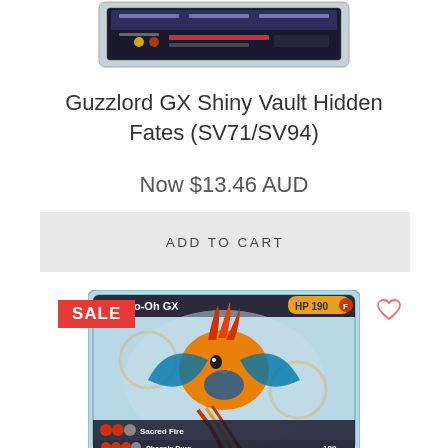[Figure (photo): Partial top view of Guzzlord GX Pokémon card (graded/slabbed)]
Guzzlord GX Shiny Vault Hidden Fates (SV71/SV94)
Now $13.46 AUD
ADD TO CART
[Figure (photo): Ho-Oh GX Pokémon card showing HP 190, Sacred Fire, Phoenix Burn 180, Eternal Flame GX attacks with SALE badge overlay]
SALE